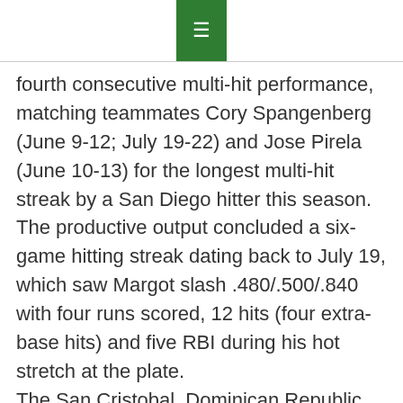≡
fourth consecutive multi-hit performance, matching teammates Cory Spangenberg (June 9-12; July 19-22) and Jose Pirela (June 10-13) for the longest multi-hit streak by a San Diego hitter this season. The productive output concluded a six-game hitting streak dating back to July 19, which saw Margot slash .480/.500/.840 with four runs scored, 12 hits (four extra-base hits) and five RBI during his hot stretch at the plate.
The San Cristobal, Dominican Republic native finished his award-winning week with a pair of multi-hit games over the